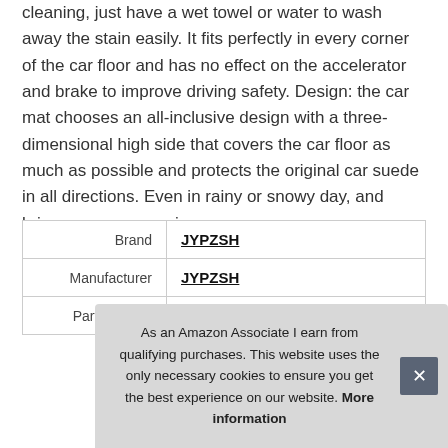cleaning, just have a wet towel or water to wash away the stain easily. It fits perfectly in every corner of the car floor and has no effect on the accelerator and brake to improve driving safety. Design: the car mat chooses an all-inclusive design with a three-dimensional high side that covers the car floor as much as possible and protects the original car suede in all directions. Even in rainy or snowy day, and bring you new experience.
|  |  |
| --- | --- |
| Brand | JYPZSH |
| Manufacturer | JYPZSH |
| Part Number | qichejiaodian5-16-4 |
As an Amazon Associate I earn from qualifying purchases. This website uses the only necessary cookies to ensure you get the best experience on our website. More information